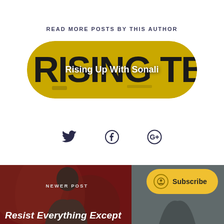READ MORE POSTS BY THIS AUTHOR
[Figure (illustration): Yellow skateboard-shaped pill graphic with bold black 'RISING TB' text on it, overlaid with white text 'Rising Up With Sonali']
[Figure (infographic): Three social media icons: Twitter bird, Facebook f, and Google+ circle]
[Figure (photo): Bottom strip showing two photos side by side: left is a person against a red patterned background, right is a person against a light background. Overlaid with a yellow Subscribe button and text 'NEWER POST' and 'Resist Everything Except']